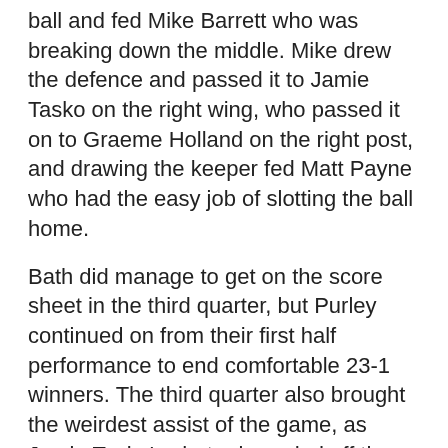ball and fed Mike Barrett who was breaking down the middle. Mike drew the defence and passed it to Jamie Tasko on the right wing, who passed it on to Graeme Holland on the right post, and drawing the keeper fed Matt Payne who had the easy job of slotting the ball home.
Bath did manage to get on the score sheet in the third quarter, but Purley continued on from their first half performance to end comfortable 23-1 winners. The third quarter also brought the weirdest assist of the game, as Jamie Tasko's shot rebounded off the keeper's box straight back into Jamie's stick - and Jamie wasn't about to miss on the second attempt.
The return of Luke Smith at the face gave Purley plenty of possession for some strange reason he had decided to get married in the middle of the lacrosse season and had been on honeymoon. Congratulations Luke, and married life obviously agrees with him as he notched up two well taken goals.